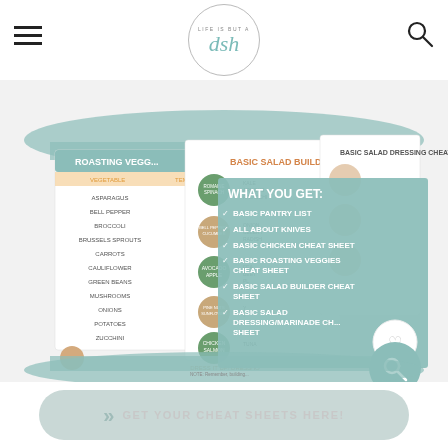LIFE IS BUT A dish
[Figure (infographic): Marketing infographic showing cheat sheet documents fanned out: Roasting Veggies cheat sheet, Basic Salad Builder, Basic Salad Dressing Cheat Sheet, with overlay panel listing: WHAT YOU GET: Basic Pantry List, All About Knives, Basic Chicken Cheat Sheet, Basic Roasting Veggies Cheat Sheet, Basic Salad Builder Cheat Sheet, Basic Salad Dressing/Marinade Cheat Sheet. Floating heart icon and search icon in lower right.]
GET YOUR CHEAT SHEETS HERE!